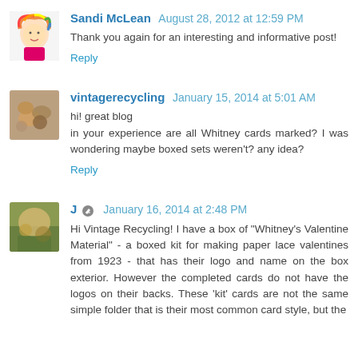[Figure (illustration): Avatar image for Sandi McLean - colorful illustrated figure with rainbow hair]
Sandi McLean August 28, 2012 at 12:59 PM
Thank you again for an interesting and informative post!
Reply
[Figure (photo): Avatar image for vintagerecycling - food/objects photo]
vintagerecycling January 15, 2014 at 5:01 AM
hi! great blog
in your experience are all Whitney cards marked? I was wondering maybe boxed sets weren't? any idea?
Reply
[Figure (photo): Avatar image for J - colorful illustrated photo]
J January 16, 2014 at 2:48 PM
Hi Vintage Recycling! I have a box of "Whitney's Valentine Material" - a boxed kit for making paper lace valentines from 1923 - that has their logo and name on the box exterior. However the completed cards do not have the logos on their backs. These 'kit' cards are not the same simple folder that is their most common card style, but the